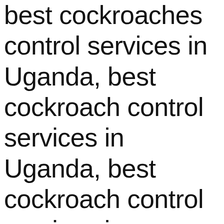best cockroaches control services in Uganda, best cockroach control services in Uganda, best cockroach control services in